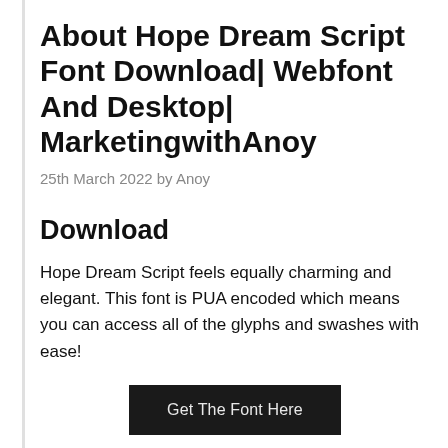About Hope Dream Script Font Download| Webfont And Desktop| MarketingwithAnoy
25th March 2022 by Anoy
Download
Hope Dream Script feels equally charming and elegant. This font is PUA encoded which means you can access all of the glyphs and swashes with ease!
Get The Font Here